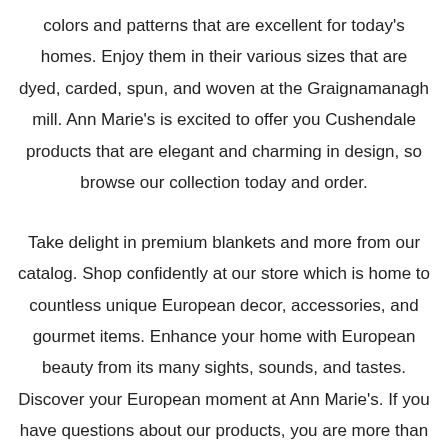colors and patterns that are excellent for today's homes. Enjoy them in their various sizes that are dyed, carded, spun, and woven at the Graignamanagh mill. Ann Marie's is excited to offer you Cushendale products that are elegant and charming in design, so browse our collection today and order.
Take delight in premium blankets and more from our catalog. Shop confidently at our store which is home to countless unique European decor, accessories, and gourmet items. Enhance your home with European beauty from its many sights, sounds, and tastes. Discover your European moment at Ann Marie's. If you have questions about our products, you are more than welcome to reach us by phone or email, and we will be happy to lend some help so you can make an